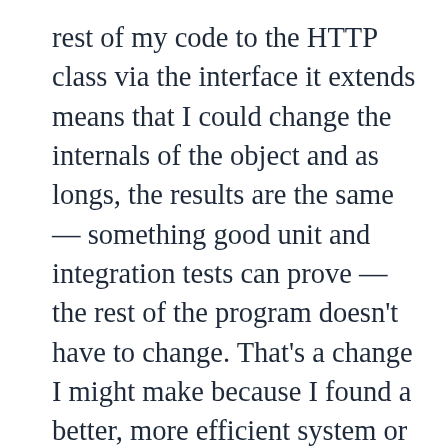rest of my code to the HTTP class via the interface it extends means that I could change the internals of the object and as longs, the results are the same — something good unit and integration tests can prove — the rest of the program doesn't have to change. That's a change I might make because I found a better, more efficient system or because I've implemented the same system in some other PHP framework.